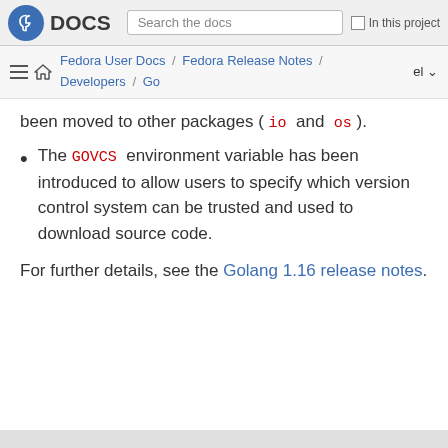Fedora DOCS | Search the docs | In this project
Fedora User Docs / Fedora Release Notes / Developers / Go | el
been moved to other packages ( io and os ).
The GOVCS environment variable has been introduced to allow users to specify which version control system can be trusted and used to download source code.
For further details, see the Golang 1.16 release notes.